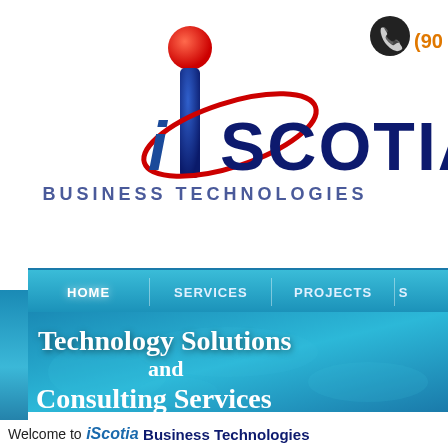[Figure (logo): iScotia Business Technologies logo with a large red and blue stylized 'i' and swoosh, dark blue text 'iSCOTIA' and smaller 'BUSINESS TECHNOLOGIES' below]
(90
[Figure (screenshot): Navigation bar with HOME, SERVICES, PROJECTS menu items on a blue gradient background]
Technology Solutions and Consulting Services
Welcome to iScotia Business Technologies